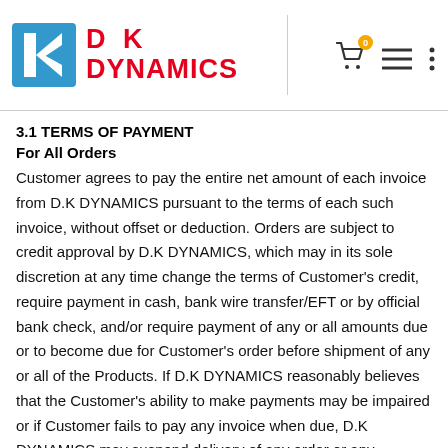[Figure (logo): D K Dynamics logo with blue K icon and red text]
3.1 TERMS OF PAYMENT
For All Orders
Customer agrees to pay the entire net amount of each invoice from D.K DYNAMICS pursuant to the terms of each such invoice, without offset or deduction. Orders are subject to credit approval by D.K DYNAMICS, which may in its sole discretion at any time change the terms of Customer's credit, require payment in cash, bank wire transfer/EFT or by official bank check, and/or require payment of any or all amounts due or to become due for Customer's order before shipment of any or all of the Products. If D.K DYNAMICS reasonably believes that the Customer's ability to make payments may be impaired or if Customer fails to pay any invoice when due, D.K DYNAMICS may suspend delivery of any order or any